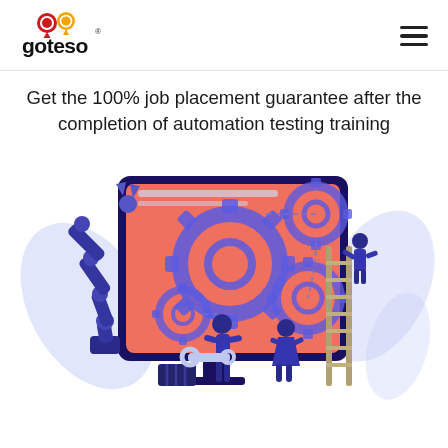goteso logo and navigation
Get the 100% job placement guarantee after the completion of automation testing training
[Figure (illustration): Illustration of a robotic arm and workers with gears on a large screen, representing automation testing. Two people work on gears mounted on a monitor; one holds a wrench, another climbs a ladder. Background has light blue leaf shapes.]